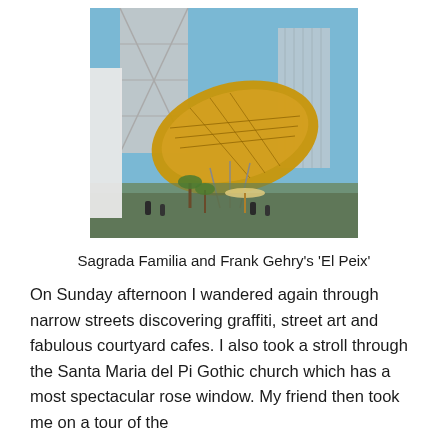[Figure (photo): Photograph of Frank Gehry's El Peix (Fish sculpture) gold metallic structure in Barcelona, with the Torre Mapfre skyscraper and Hotel Arts in the background, people and palm trees visible below, clear blue sky.]
Sagrada Familia and Frank Gehry's 'El Peix'
On Sunday afternoon I wandered again through narrow streets discovering graffiti, street art and fabulous courtyard cafes. I also took a stroll through the Santa Maria del Pi Gothic church which has a most spectacular rose window. My friend then took me on a tour of the